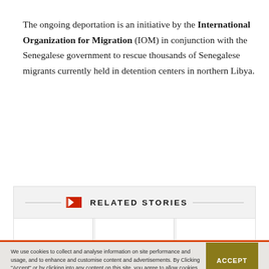The ongoing deportation is an initiative by the International Organization for Migration (IOM) in conjunction with the Senegalese government to rescue thousands of Senegalese migrants currently held in detention centers in northern Libya.
RELATED STORIES
We use cookies to collect and analyse information on site performance and usage, and to enhance and customise content and advertisements. By Clicking "Accept" or by clicking into any content on this site, you agree to allow cookies to be placed. To find out more, read our privacy policy.